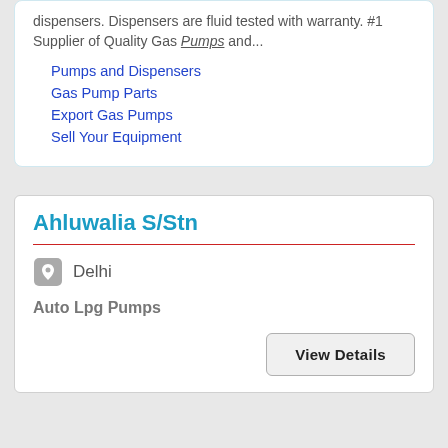dispensers. Dispensers are fluid tested with warranty. #1 Supplier of Quality Gas Pumps and...
Pumps and Dispensers
Gas Pump Parts
Export Gas Pumps
Sell Your Equipment
Ahluwalia S/Stn
Delhi
Auto Lpg Pumps
View Details